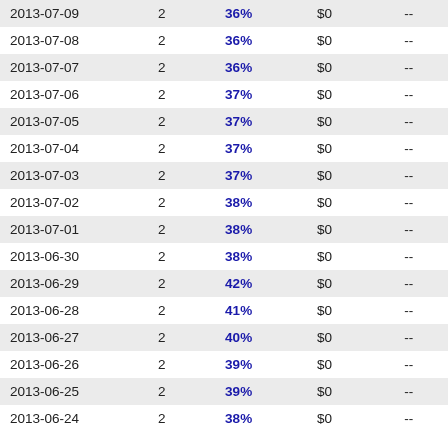| Date |  | % | $ |  |
| --- | --- | --- | --- | --- |
| 2013-07-09 | 2 | 36% | $0 | -- |
| 2013-07-08 | 2 | 36% | $0 | -- |
| 2013-07-07 | 2 | 36% | $0 | -- |
| 2013-07-06 | 2 | 37% | $0 | -- |
| 2013-07-05 | 2 | 37% | $0 | -- |
| 2013-07-04 | 2 | 37% | $0 | -- |
| 2013-07-03 | 2 | 37% | $0 | -- |
| 2013-07-02 | 2 | 38% | $0 | -- |
| 2013-07-01 | 2 | 38% | $0 | -- |
| 2013-06-30 | 2 | 38% | $0 | -- |
| 2013-06-29 | 2 | 42% | $0 | -- |
| 2013-06-28 | 2 | 41% | $0 | -- |
| 2013-06-27 | 2 | 40% | $0 | -- |
| 2013-06-26 | 2 | 39% | $0 | -- |
| 2013-06-25 | 2 | 39% | $0 | -- |
| 2013-06-24 | 2 | 38% | $0 | -- |